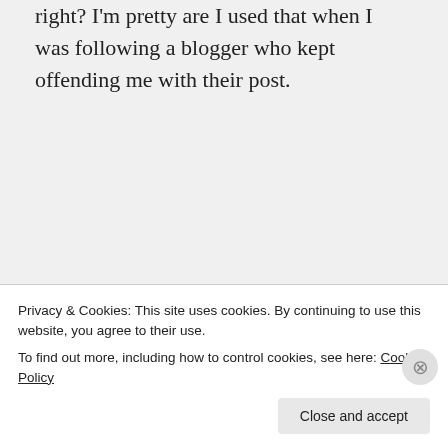right? I'm pretty are I used that when I was following a blogger who kept offending me with their post.
Liked by 1 person
bobbyo1967 on April 30, 2015 at 4:37 pm
Privacy & Cookies: This site uses cookies. By continuing to use this website, you agree to their use. To find out more, including how to control cookies, see here: Cookie Policy